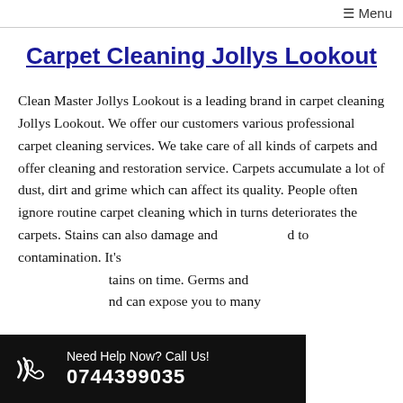☰ Menu
Carpet Cleaning Jollys Lookout
Clean Master Jollys Lookout is a leading brand in carpet cleaning Jollys Lookout. We offer our customers various professional carpet cleaning services. We take care of all kinds of carpets and offer cleaning and restoration service. Carpets accumulate a lot of dust, dirt and grime which can affect its quality. People often ignore routine carpet cleaning which in turns deteriorates the carpets. Stains can also damage and lead to contamination. It's important to treat stains on time. Germs and bacteria can expose you to many
Need Help Now? Call Us! 0744399035